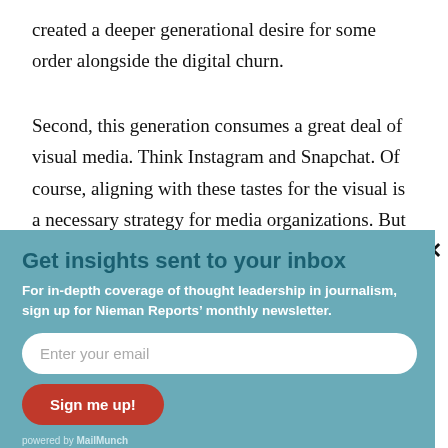created a deeper generational desire for some order alongside the digital churn.
Second, this generation consumes a great deal of visual media. Think Instagram and Snapchat. Of course, aligning with these tastes for the visual is a necessary strategy for media organizations. But here media might also recall the
Get insights sent to your inbox
For in-depth coverage of thought leadership in journalism, sign up for Nieman Reports’ monthly newsletter.
Enter your email
Sign me up!
powered by MailMunch